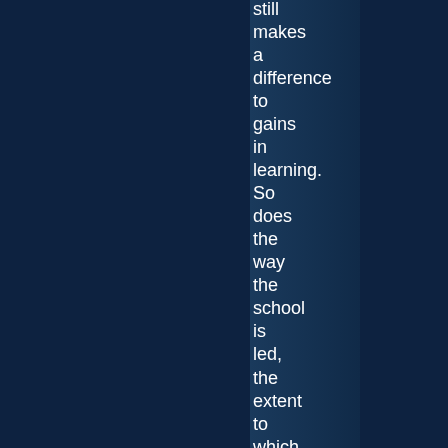still makes a difference to gains in learning. So does the way the school is led, the extent to which the teachers are